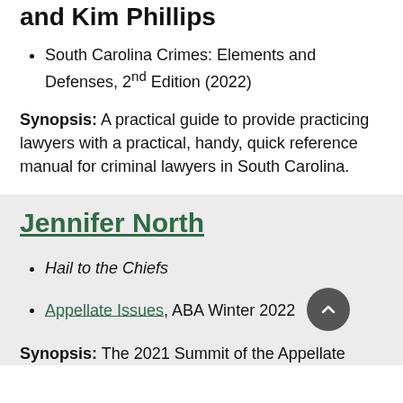and Kim Phillips
South Carolina Crimes: Elements and Defenses, 2nd Edition (2022)
Synopsis: A practical guide to provide practicing lawyers with a practical, handy, quick reference manual for criminal lawyers in South Carolina.
Jennifer North
Hail to the Chiefs
Appellate Issues, ABA Winter 2022
Synopsis: The 2021 Summit of the Appellate